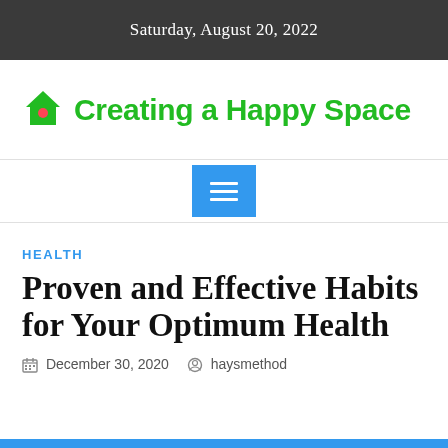Saturday, August 20, 2022
Creating a Happy Space
[Figure (other): Blue hamburger/menu button with three white horizontal lines]
HEALTH
Proven and Effective Habits for Your Optimum Health
December 30, 2020   haysmethod